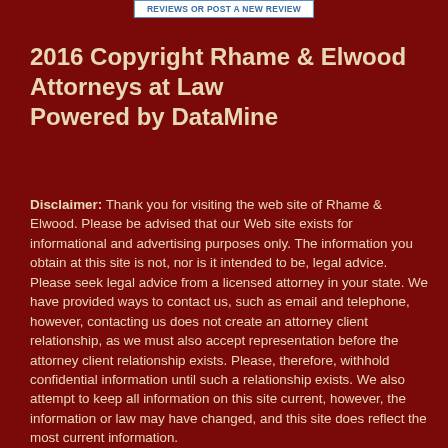REVIEWS OR POST A NEW REVIEW
2016 Copyright Rhame & Elwood Attorneys at Law
Powered by DataMine
Disclaimer: Thank you for visiting the web site of Rhame & Elwood. Please be advised that our Web site exists for informational and advertising purposes only. The information you obtain at this site is not, nor is it intended to be, legal advice. Please seek legal advice from a licensed attorney in your state. We have provided ways to contact us, such as email and telephone, however, contacting us does not create an attorney client relationship, as we must also accept representation before the attorney client relationship exists. Please, therefore, withhold confidential information until such a relationship exists. We also attempt to keep all information on this site current, however, the information or law may have changed, and this site does reflect the most current information.